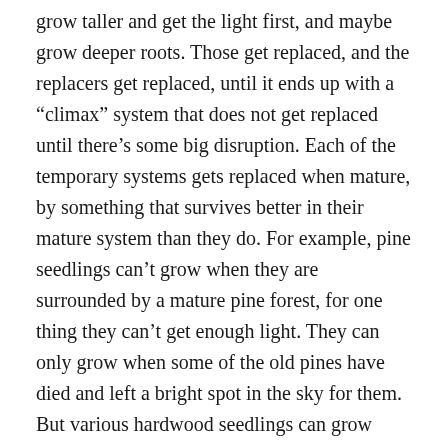grow taller and get the light first, and maybe grow deeper roots. Those get replaced, and the replacers get replaced, until it ends up with a “climax” system that does not get replaced until there’s some big disruption. Each of the temporary systems gets replaced when mature, by something that survives better in their mature system than they do. For example, pine seedlings can’t grow when they are surrounded by a mature pine forest, for one thing they can’t get enough light. They can only grow when some of the old pines have died and left a bright spot in the sky for them. But various hardwood seedlings can grow with that much light, and so they replace the pines if they don’t get burned out. Each new dominant tree is replaced by another whose seedlings can grow with the amount of light that stops their own seedlings, until it gets to one that the replacement hasn’t evolved yet. (Of course this is oversimplified.)